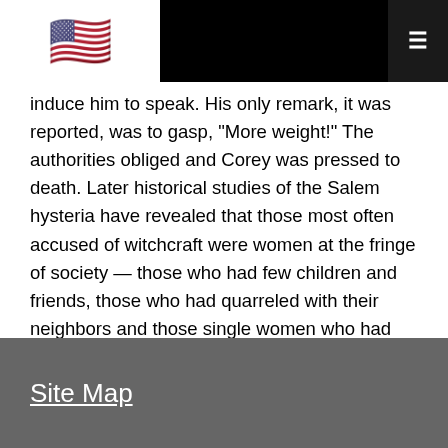[Figure (illustration): US flag emoji in white header bar on left side]
induce him to speak. His only remark, it was reported, was to gasp, "More weight!" The authorities obliged and Corey was pressed to death. Later historical studies of the Salem hysteria have revealed that those most often accused of witchcraft were women at the fringe of society — those who had few children and friends, those who had quarreled with their neighbors and those single women who had accumulated wealth or property. The events in Salem demonstrated how a volatile mixture of religion, fear and jealousy could erupt into frenzy. The Salem trials marked the last time a person was executed for witchcraft in America.
Site Map